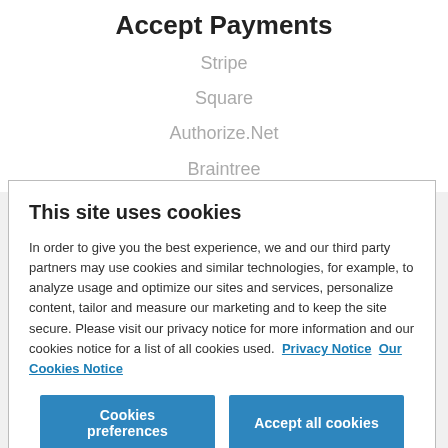Accept Payments
Stripe
Square
Authorize.Net
Braintree
This site uses cookies
In order to give you the best experience, we and our third party partners may use cookies and similar technologies, for example, to analyze usage and optimize our sites and services, personalize content, tailor and measure our marketing and to keep the site secure. Please visit our privacy notice for more information and our cookies notice for a list of all cookies used.  Privacy Notice  Our Cookies Notice
Cookies preferences
Accept all cookies